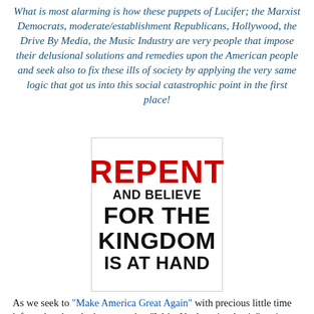What is most alarming is how these puppets of Lucifer; the Marxist Democrats, moderate/establishment Republicans, Hollywood, the Drive By Media, the Music Industry are very people that impose their delusional solutions and remedies upon the American people and seek also to fix these ills of society by applying the very same logic that got us into this social catastrophic point in the first place!
[Figure (illustration): Religious poster with text: REPENT (in red, large bold) AND BELIEVE FOR THE KINGDOM IS AT HAND (in black bold)]
As we seek to "Make America Great Again" with precious little time left on the play clock, we need to "Wake Up America Again" to the ETERNAL saving grace of our Lord